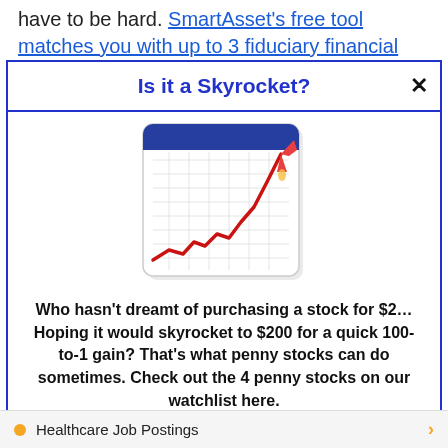have to be hard. SmartAsset's free tool matches you with up to 3 fiduciary financial
Is it a Skyrocket?
[Figure (illustration): A calendar-style chart illustration showing a red skyrocketing line chart going upward to the right, with a rocket in the upper right corner. The background is a white grid calendar page with a dark blue header strip.]
Who hasn't dreamt of purchasing a stock for $2… Hoping it would skyrocket to $200 for a quick 100-to-1 gain? That's what penny stocks can do sometimes. Check out the 4 penny stocks on our watchlist here.
>>> See The List <<<
Healthcare Job Postings